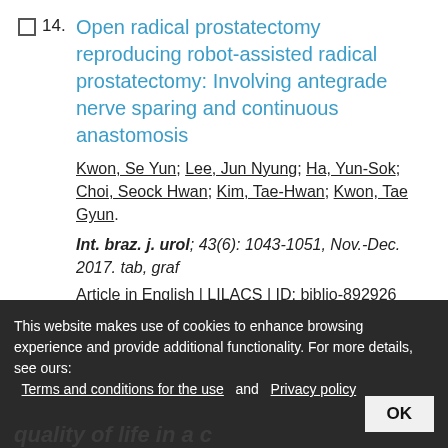14. Open radical prostatectomy reproducing robot-assisted radical prostatectomy: Involving antegrade nerve sparing and continuous anastomosis
Kwon, Se Yun; Lee, Jun Nyung; Ha, Yun-Sok; Choi, Seock Hwan; Kim, Tae-Hwan; Kwon, Tae Gyun.
Int. braz. j. urol; 43(6): 1043-1051, Nov.-Dec. 2017. tab, graf
Article in English | LILACS | ID: biblio-892926
This website makes use of cookies to enhance browsing experience and provide additional functionality. For more details, see ours: Terms and conditions for the use and Privacy policy